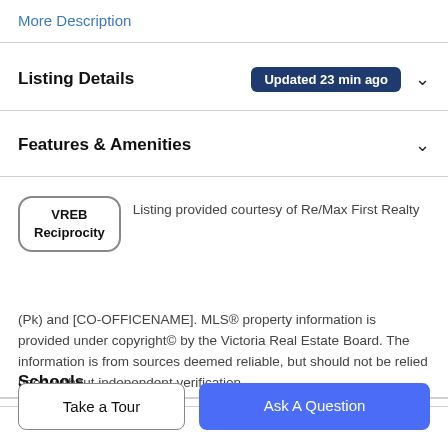More Description
Listing Details  Updated 23 min ago
Features & Amenities
VREB Reciprocity  Listing provided courtesy of Re/Max First Realty (Pk) and [CO-OFFICENAME]. MLS® property information is provided under copyright© by the Victoria Real Estate Board. The information is from sources deemed reliable, but should not be relied upon without independent verification.
Schools
Take a Tour
Ask A Question